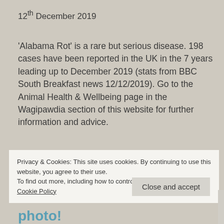12th December 2019
'Alabama Rot' is a rare but serious disease. 198 cases have been reported in the UK in the 7 years leading up to December 2019 (stats from BBC South Breakfast news 12/12/2019). Go to the Animal Health & Wellbeing page in the Wagipawdia section of this website for further information and advice.
Privacy & Cookies: This site uses cookies. By continuing to use this website, you agree to their use.
To find out more, including how to control cookies, see here:
Cookie Policy
Close and accept
photo!